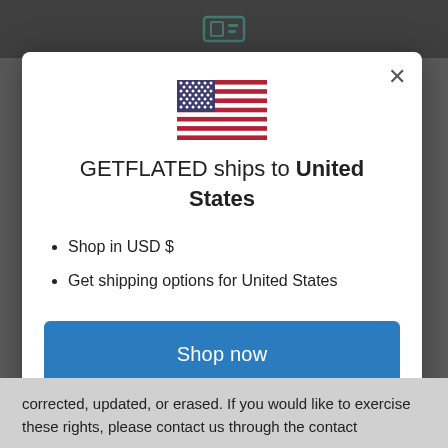[Figure (screenshot): US flag emoji/icon displayed at top center of modal dialog]
GETFLATED ships to United States
Shop in USD $
Get shipping options for United States
Shop now
Change shipping country
corrected, updated, or erased. If you would like to exercise these rights, please contact us through the contact